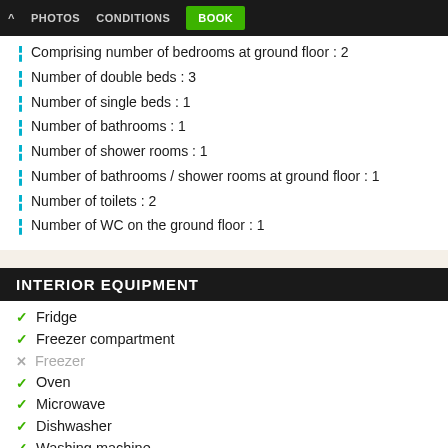^ PHOTOS CONDITIONS BOOK
Comprising number of bedrooms at ground floor : 2
Number of double beds : 3
Number of single beds : 1
Number of bathrooms : 1
Number of shower rooms : 1
Number of bathrooms / shower rooms at ground floor : 1
Number of toilets : 2
Number of WC on the ground floor : 1
INTERIOR EQUIPMENT
Fridge
Freezer compartment
Freezer
Oven
Microwave
Dishwasher
Washing machine